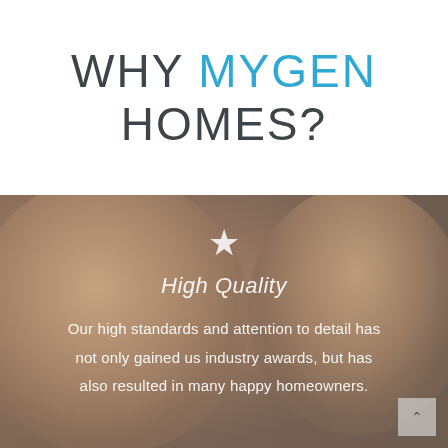WHY MYGEN HOMES?
[Figure (photo): Blurred close-up photo of a person's face (eyes and forehead visible), used as background for the lower section]
High Quality
Our high standards and attention to detail has not only gained us industry awards, but has also resulted in many happy homeowners.